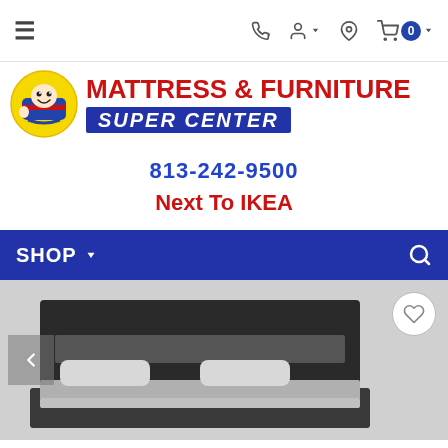Navigation bar with hamburger menu, phone icon, account icon, location icon, cart icon with badge 0
[Figure (logo): Mattress & Furniture Super Center logo with cartoon mattress mascot character]
813-242-9500
Next To IKEA
SHOP ▾ with search icon
[Figure (photo): Partial product photo of a dark bedroom bed headboard with gray bedding, with wishlist heart button and left navigation arrow]